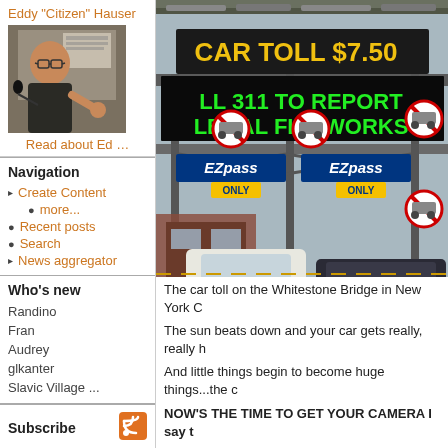Eddy "Citizen" Hauser
[Figure (photo): Photo of Eddy 'Citizen' Hauser speaking at a podium with a microphone]
Read about Ed ...
Navigation
▸ Create Content
○ more...
○ Recent posts
○ Search
▸ News aggregator
Who's new
Randino
Fran
Audrey
glkanter
Slavic Village ...
Subscribe
[Figure (photo): Top portion of cars on highway or bridge — partial image at top]
[Figure (photo): Toll plaza on the Whitestone Bridge in New York City. Sign reads CAR TOLL $7.50. EZ Pass Only lanes visible. Cars lined up at toll booths. Signs prohibiting trucks. Green LED scrolling sign reading 311 TO REPORT LEGAL FIREWORKS.]
The car toll on the Whitestone Bridge in New York C
The sun beats down and your car gets really, really h
And little things begin to become huge things...the c
NOW'S THE TIME TO GET YOUR CAMERA I say t